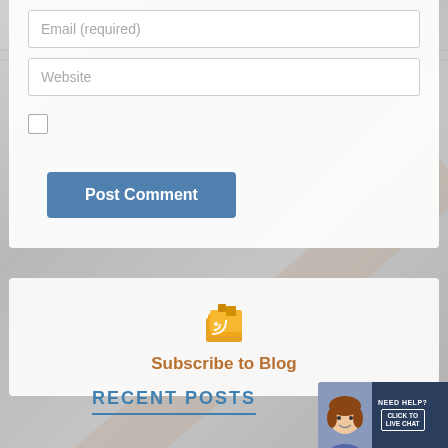[Figure (screenshot): Website comment form showing Email (required) input, Website input field, a checkbox, and a Post Comment button on a semi-transparent white overlay with a roof background image]
[Figure (illustration): Orange RSS/blog subscription icon (stack of papers with RSS symbol)]
Subscribe to Blog
RECENT POSTS
[Figure (screenshot): Live chat widget with female avatar photo and text NEED HELP? CLICK TO LIVE CHAT on dark navy background]